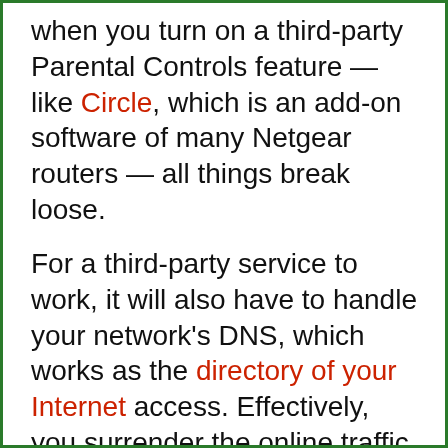when you turn on a third-party Parental Controls feature — like Circle, which is an add-on software of many Netgear routers — all things break loose.
For a third-party service to work, it will also have to handle your network's DNS, which works as the directory of your Internet access. Effectively, you surrender the online traffic of your entire network or at least the device with the Parental Controls app to the vendor.
Again, that's the case with all online protection, web filtering, and firewall